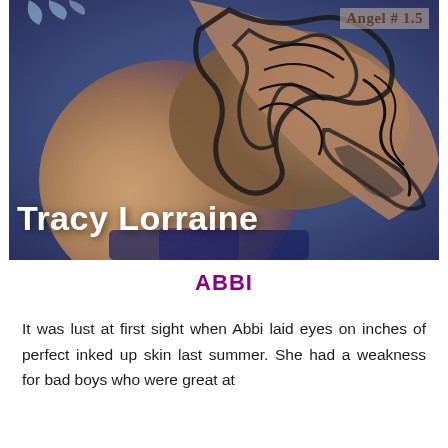[Figure (illustration): Book cover for a romance novel showing tattooed arm and torso with blue/purple background. Author name 'Tracy Lorraine' in large white bold text at bottom. Series label 'Angel # 1.5' in brown text upper right.]
ABBI
It was lust at first sight when Abbi laid eyes on inches of perfect inked up skin last summer. She had a weakness for bad boys who were great at